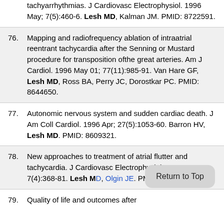tachyarrhythmias. J Cardiovasc Electrophysiol. 1996 May; 7(5):460-6. Lesh MD, Kalman JM. PMID: 8722591.
76. Mapping and radiofrequency ablation of intraatrial reentrant tachycardia after the Senning or Mustard procedure for transposition ofthe great arteries. Am J Cardiol. 1996 May 01; 77(11):985-91. Van Hare GF, Lesh MD, Ross BA, Perry JC, Dorostkar PC. PMID: 8644650.
77. Autonomic nervous system and sudden cardiac death. J Am Coll Cardiol. 1996 Apr; 27(5):1053-60. Barron HV, Lesh MD. PMID: 8609321.
78. New approaches to treatment of atrial flutter and tachycardia. J Cardiovasc Electrophysiol. 1996 Apr; 7(4):368-81. Lesh MD, Olgin JE. PMID: 8777486.
79. Quality of life and outcomes after
Return to Top